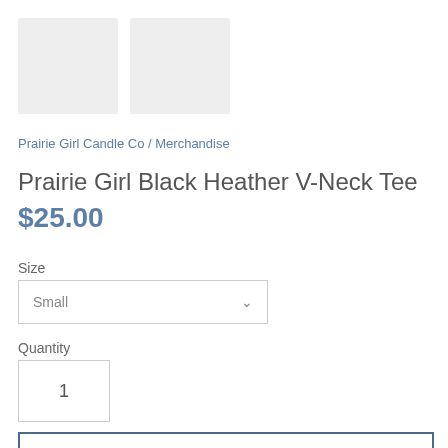[Figure (photo): Two placeholder thumbnail images side by side, light gray rectangles]
Prairie Girl Candle Co / Merchandise
Prairie Girl Black Heather V-Neck Tee
$25.00
Size
Small
Quantity
1
Add to cart